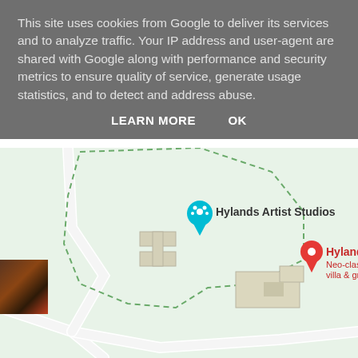This site uses cookies from Google to deliver its services and to analyze traffic. Your IP address and user-agent are shared with Google along with performance and security metrics to ensure quality of service, generate usage statistics, and to detect and address abuse.
LEARN MORE   OK
[Figure (map): Google Maps screenshot showing Hylands Artist Studios (blue pin) and Hylands House (red pin, labeled 'Neo-classical villa & grounds') on a light green map background with roads and building outlines.]